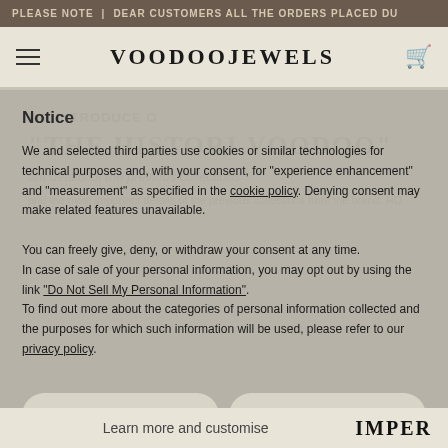PLEASE NOTE | DEAR CUSTOMERS ALL THE ORDERS PLACED DU
[Figure (logo): VoodoJewels brand logo with hamburger menu and cart icon]
Notice
We and selected third parties use cookies or similar technologies for technical purposes and, with your consent, for "experience enhancement" and "measurement" as specified in the cookie policy. Denying consent may make related features unavailable.
You can freely give, deny, or withdraw your consent at any time.
In case of sale of your personal information, you may opt out by using the link "Do Not Sell My Personal Information".
To find out more about the categories of personal information collected and the purposes for which such information will be used, please refer to our privacy policy.
Reject
Accept
IMPER
Learn more and customise